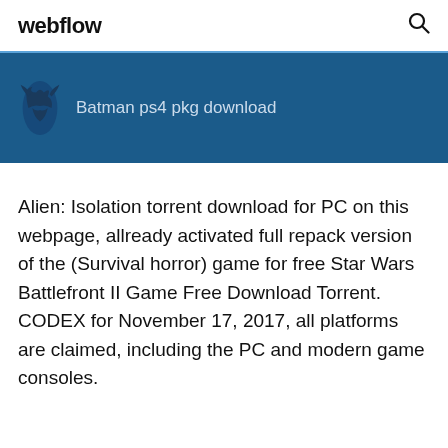webflow
[Figure (screenshot): Dark blue banner with a Batman silhouette icon on the left and the text 'Batman ps4 pkg download']
Alien: Isolation torrent download for PC on this webpage, allready activated full repack version of the (Survival horror) game for free Star Wars Battlefront II Game Free Download Torrent. CODEX for November 17, 2017, all platforms are claimed, including the PC and modern game consoles.